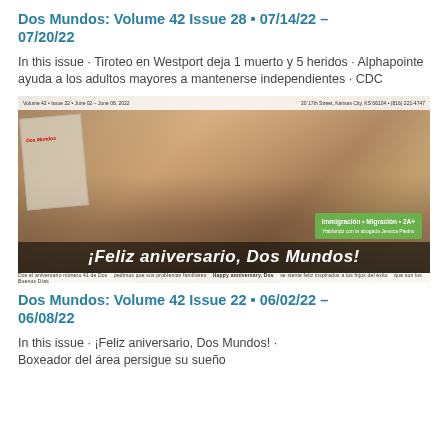Dos Mundos: Volume 42 Issue 28 • 07/14/22 – 07/20/22
In this issue · Tiroteo en Westport deja 1 muerto y 5 heridos · Alphapointe ayuda a los adultos mayores a mantenerse independientes · CDC
[Figure (photo): Newspaper front page cover showing four people smiling at an event, with headline '¡Feliz aniversario, Dos Mundos!' and a green box reading 'Immigración · Migración · 2A+'. Caption text at top and bottom of the image.]
Dos Mundos: Volume 42 Issue 22 • 06/02/22 – 06/08/22
In this issue · ¡Feliz aniversario, Dos Mundos! · Boxeador del área persigue su sueño